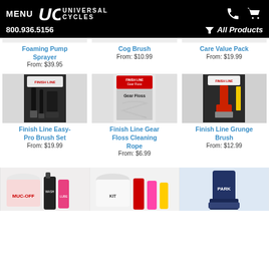MENU | UC UNIVERSAL CYCLES | 800.936.5156 | All Products
Finish Line Foaming Pump Sprayer
From: $39.95
Finish Line Cog Brush
From: $10.99
Finish Line Care Value Pack
From: $19.99
[Figure (photo): Finish Line Easy-Pro Brush Set product photo]
Finish Line Easy-Pro Brush Set
From: $19.99
[Figure (photo): Finish Line Gear Floss Cleaning Rope product photo]
Finish Line Gear Floss Cleaning Rope
From: $6.99
[Figure (photo): Finish Line Grunge Brush product photo]
Finish Line Grunge Brush
From: $12.99
[Figure (photo): Partial product photo bottom left]
[Figure (photo): Partial product photo bottom center]
[Figure (photo): Partial product photo bottom right]